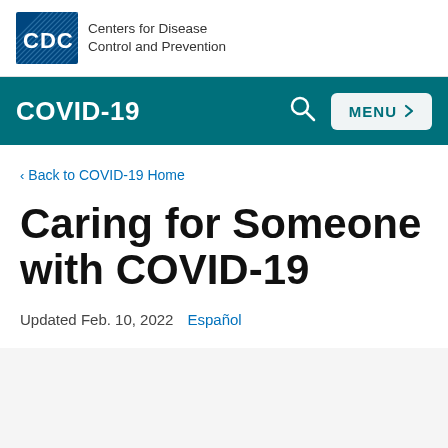[Figure (logo): CDC logo: blue rectangle with 'CDC' text in white, alongside text 'Centers for Disease Control and Prevention']
COVID-19
< Back to COVID-19 Home
Caring for Someone with COVID-19
Updated Feb. 10, 2022   Español